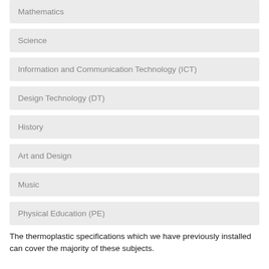Mathematics
Science
Information and Communication Technology (ICT)
Design Technology (DT)
History
Art and Design
Music
Physical Education (PE)
The thermoplastic specifications which we have previously installed can cover the majority of these subjects.